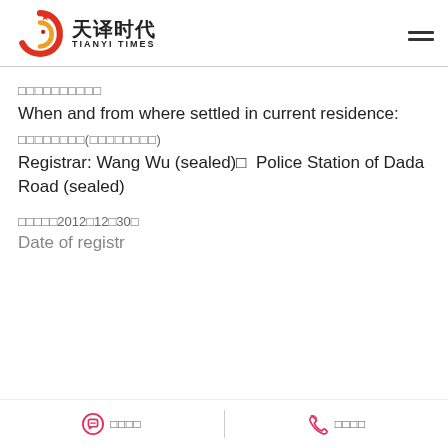天译时代 TIANYI TIMES
□□□□□□□□□□
When and from where settled in current residence:
□□□□□□□□(□□□□□□□□)
Registrar: Wang Wu (sealed)□  Police Station of Dada Road (sealed)
□□□□□2012□12□30□
Date of registry: 30 Dec 2012
□□□□  |  □□□□